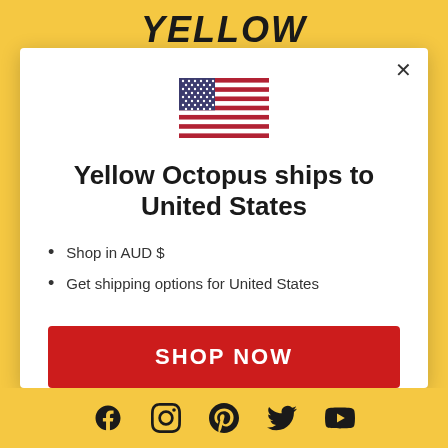YELLOW
[Figure (illustration): US flag emoji/illustration centered in modal]
Yellow Octopus ships to United States
Shop in AUD $
Get shipping options for United States
SHOP NOW
CHANGE SHIPPING COUNTRY
Social media icons: Facebook, Instagram, Pinterest, Twitter, YouTube